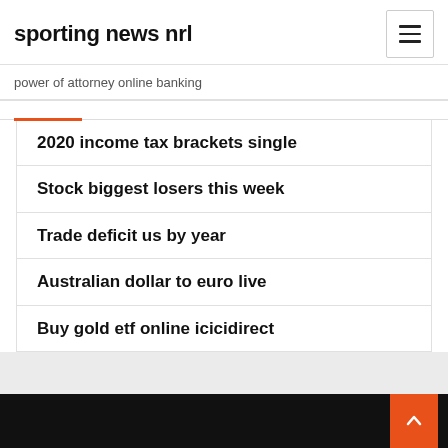sporting news nrl
power of attorney online banking
2020 income tax brackets single
Stock biggest losers this week
Trade deficit us by year
Australian dollar to euro live
Buy gold etf online icicidirect